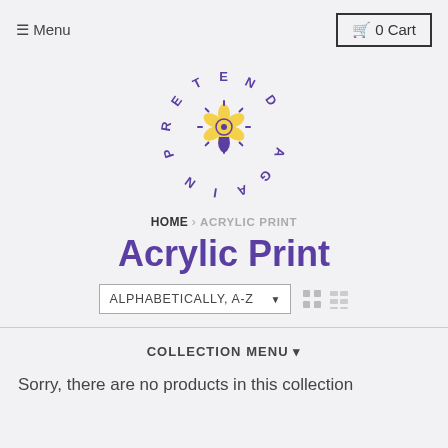≡ Menu   🛒 0 Cart
[Figure (logo): Pretend Again circular logo with letters arranged in a circle and a flower/paint drop icon in the center, colored purple and yellow]
HOME › ACRYLIC PRINT
Acrylic Print
ALPHABETICALLY, A-Z ▾
COLLECTION MENU ▾
Sorry, there are no products in this collection